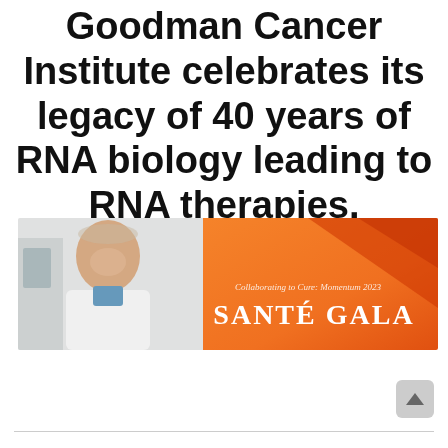Goodman Cancer Institute celebrates its legacy of 40 years of RNA biology leading to RNA therapies.
[Figure (photo): Banner image showing an elderly smiling man in a white lab coat on the left (photo on white/lab background), and on the right an orange gradient panel with italic text 'Collaborating to Cure: Momentum 2023' and large white text 'SANTÉ GALA'.]